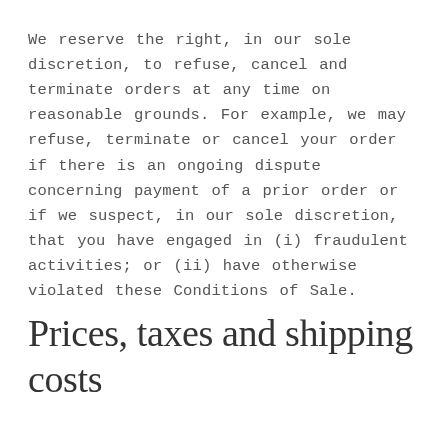We reserve the right, in our sole discretion, to refuse, cancel and terminate orders at any time on reasonable grounds. For example, we may refuse, terminate or cancel your order if there is an ongoing dispute concerning payment of a prior order or if we suspect, in our sole discretion, that you have engaged in (i) fraudulent activities; or (ii) have otherwise violated these Conditions of Sale.
Prices, taxes and shipping costs